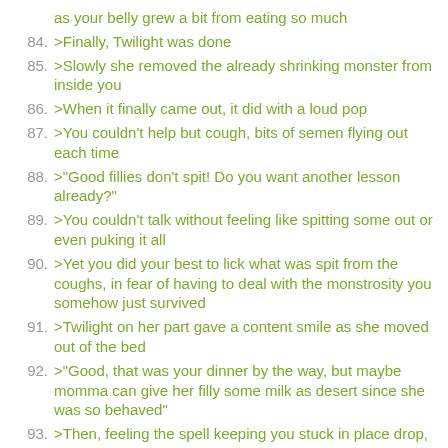as your belly grew a bit from eating so much
84. >Finally, Twilight was done
85. >Slowly she removed the already shrinking monster from inside you
86. >When it finally came out, it did with a loud pop
87. >You couldn't help but cough, bits of semen flying out each time
88. >"Good fillies don't spit! Do you want another lesson already?"
89. >You couldn't talk without feeling like spitting some out or even puking it all
90. >Yet you did your best to lick what was spit from the coughs, in fear of having to deal with the monstrosity you somehow just survived
91. >Twilight on her part gave a content smile as she moved out of the bed
92. >"Good, that was your dinner by the way, but maybe momma can give her filly some milk as desert since she was so behaved"
93. >Then, feeling the spell keeping you stuck in place drop, you fell to your sides and just stayed there, unmoving
94. >Twilight on her part, took off the sheet and